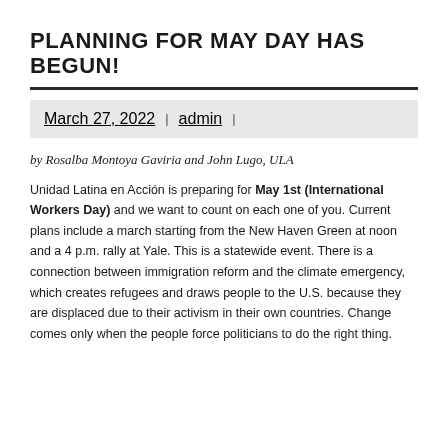PLANNING FOR MAY DAY HAS BEGUN!
March 27, 2022 | admin |
by Rosalba Montoya Gaviria and John Lugo, ULA
Unidad Latina en Acción is preparing for May 1st (International Workers Day) and we want to count on each one of you. Current plans include a march starting from the New Haven Green at noon and a 4 p.m. rally at Yale. This is a statewide event. There is a connection between immigration reform and the climate emergency, which creates refugees and draws people to the U.S. because they are displaced due to their activism in their own countries. Change comes only when the people force politicians to do the right thing.